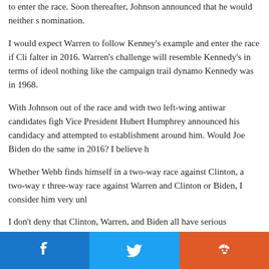to enter the race. Soon thereafter, Johnson announced that he would neither s… nomination.
I would expect Warren to follow Kenney's example and enter the race if Cli… falter in 2016. Warren's challenge will resemble Kennedy's in terms of ideol… nothing like the campaign trail dynamo Kennedy was in 1968.
With Johnson out of the race and with two left-wing antiwar candidates figh… Vice President Hubert Humphrey announced his candidacy and attempted to… establishment around him. Would Joe Biden do the same in 2016? I believe h…
Whether Webb finds himself in a two-way race against Clinton, a two-way r… three-way race against Warren and Clinton or Biden, I consider him very unl…
I don't deny that Clinton, Warren, and Biden all have serious deficiencies as… though he hasn't shown himself to be a great campaigner, possesses the auth… Warren lack, and is not a bumbling windbag like Talkin' Joe Biden.
[Figure (other): Social share buttons: Facebook (blue), Twitter (light blue), Reddit (orange)]